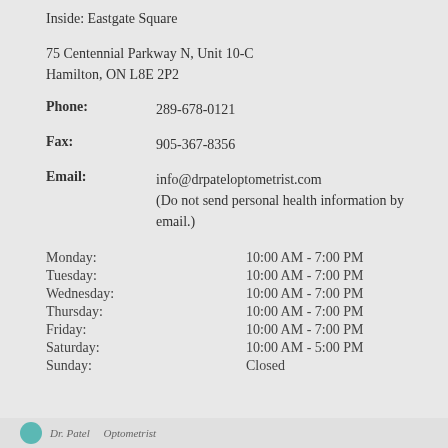Inside: Eastgate Square
75 Centennial Parkway N, Unit 10-C
Hamilton, ON L8E 2P2
Phone: 289-678-0121
Fax: 905-367-8356
Email: info@drpateloptometrist.com (Do not send personal health information by email.)
Monday: 10:00 AM - 7:00 PM
Tuesday: 10:00 AM - 7:00 PM
Wednesday: 10:00 AM - 7:00 PM
Thursday: 10:00 AM - 7:00 PM
Friday: 10:00 AM - 7:00 PM
Saturday: 10:00 AM - 5:00 PM
Sunday: Closed